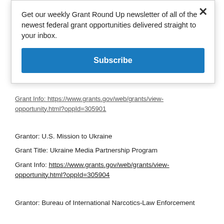Get our weekly Grant Round Up newsletter of all of the newest federal grant opportunities delivered straight to your inbox.
Subscribe
Grant Info: https://www.grants.gov/web/grants/view-opportunity.html?oppId=305901
Grantor: U.S. Mission to Ukraine
Grant Title: Ukraine Media Partnership Program
Grant Info: https://www.grants.gov/web/grants/view-opportunity.html?oppId=305904
Grantor: Bureau of International Narcotics-Law Enforcement